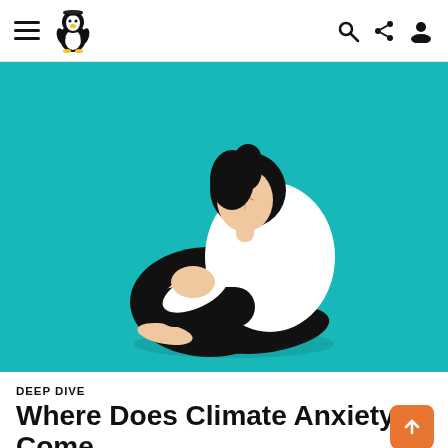≡ [penguin logo] [search] [share] [profile]
[Figure (illustration): Illustration of a person sitting on the ground with knees pulled to chest and head bowed, wearing a white top and black pants, on a teal/turquoise background.]
DEEP DIVE
Where Does Climate Anxiety Come